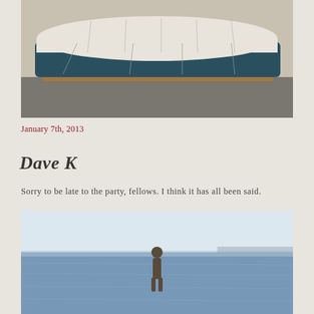[Figure (photo): A boat covered with a white tarp/shrink wrap sitting on wooden supports in a parking lot or boatyard. The boat hull is dark (teal/navy). Gravel and pavement visible below.]
January 7th, 2013
Dave K
Sorry to be late to the party, fellows. I think it has all been said.
[Figure (photo): A person standing at the edge of a body of water (ocean or large lake). The sky is bright/hazy white and the water is blue. The person appears to be looking out at the water.]